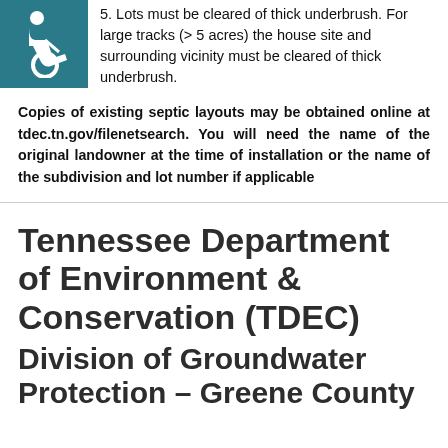5. Lots must be cleared of thick underbrush. For large tracks (> 5 acres) the house site and surrounding vicinity must be cleared of thick underbrush.
Copies of existing septic layouts may be obtained online at tdec.tn.gov/filenetsearch. You will need the name of the original landowner at the time of installation or the name of the subdivision and lot number if applicable
Tennessee Department of Environment & Conservation (TDEC)
Division of Groundwater Protection – Greene County